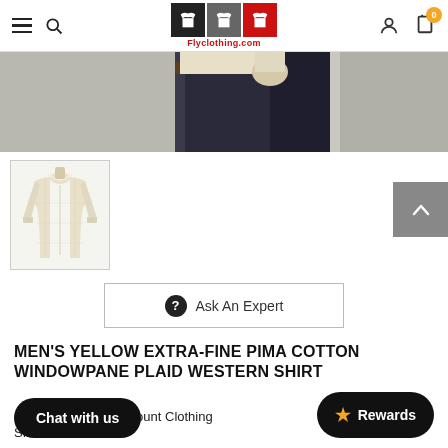Flyclothing.com navigation bar with hamburger menu, search icon, logo, user icon, and cart (0)
[Figure (photo): Cropped product hero image showing a person wearing a shirt and jeans]
[Figure (photo): Thumbnail of a cream/yellow western shirt on a mannequin]
Ask An Expert
MEN'S YELLOW EXTRA-FINE PIMA COTTON WINDOWPANE PLAID WESTERN SHIRT
Brand: Rockmount Clothing
SKU: ...4-Y-SML-YS
Chat with us
Rewards